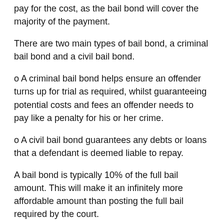pay for the cost, as the bail bond will cover the majority of the payment.
There are two main types of bail bond, a criminal bail bond and a civil bail bond.
o A criminal bail bond helps ensure an offender turns up for trial as required, whilst guaranteeing potential costs and fees an offender needs to pay like a penalty for his or her crime.
o A civil bail bond guarantees any debts or loans that a defendant is deemed liable to repay.
A bail bond is typically 10% of the full bail amount. This will make it an infinitely more affordable amount than posting the full bail required by the court.